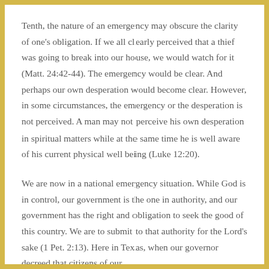Tenth, the nature of an emergency may obscure the clarity of one's obligation. If we all clearly perceived that a thief was going to break into our house, we would watch for it (Matt. 24:42-44). The emergency would be clear. And perhaps our own desperation would become clear. However, in some circumstances, the emergency or the desperation is not perceived. A man may not perceive his own desperation in spiritual matters while at the same time he is well aware of his current physical well being (Luke 12:20).
We are now in a national emergency situation. While God is in control, our government is the one in authority, and our government has the right and obligation to seek the good of this country. We are to submit to that authority for the Lord's sake (1 Pet. 2:13). Here in Texas, when our governor decreed that citizens of our